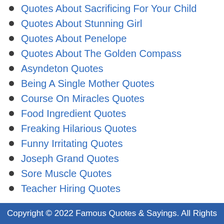Quotes About Sacrificing For Your Child
Quotes About Stunning Girl
Quotes About Penelope
Quotes About The Golden Compass
Asyndeton Quotes
Being A Single Mother Quotes
Course On Miracles Quotes
Food Ingredient Quotes
Freaking Hilarious Quotes
Funny Irritating Quotes
Joseph Grand Quotes
Sore Muscle Quotes
Teacher Hiring Quotes
Copyright © 2022 Famous Quotes & Sayings. All Rights